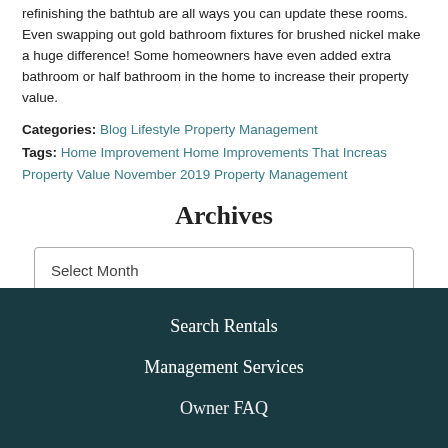refinishing the bathtub are all ways you can update these rooms. Even swapping out gold bathroom fixtures for brushed nickel make a huge difference! Some homeowners have even added extra bathroom or half bathroom in the home to increase their property value.
Categories: Blog Lifestyle Property Management
Tags: Home Improvement Home Improvements That Increase Property Value November 2019 Property Management
Archives
Select Month
Search Rentals
Management Services
Owner FAQ